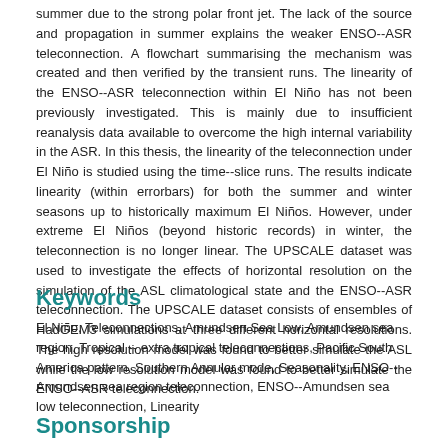summer due to the strong polar front jet. The lack of the source and propagation in summer explains the weaker ENSO--ASR teleconnection. A flowchart summarising the mechanism was created and then verified by the transient runs. The linearity of the ENSO--ASR teleconnection within El Niño has not been previously investigated. This is mainly due to insufficient reanalysis data available to overcome the high internal variability in the ASR. In this thesis, the linearity of the teleconnection under El Niño is studied using the time--slice runs. The results indicate linearity (within errorbars) for both the summer and winter seasons up to historically maximum El Niños. However, under extreme El Niños (beyond historic records) in winter, the teleconnection is no longer linear. The UPSCALE dataset was used to investigate the effects of horizontal resolution on the simulation of the ASL climatological state and the ENSO--ASR teleconnection. The UPSCALE dataset consists of ensembles of HadGEM3 simulations at three different horizontal resolutions. The high resolution model was found to better simulate the ASL while the low resolution model was found to better simulate the ENSO--ASR teleconnection.
Keywords
El Niño, Teleconnections, Amundsen Sea Low, Amundsen sea region, Tropical -- extra tropical teleconnections, Pacific South America pattern, Southern Annular mode, Seasonality, ENSO--Amundsen sea region teleconnection, ENSO--Amundsen sea low teleconnection, Linearity
Sponsorship